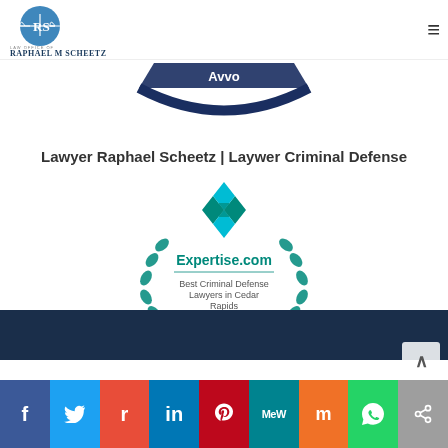[Figure (logo): Law Office of Raphael M Scheetz logo with RS initials and scales of justice]
[Figure (logo): Avvo badge/award logo in dark blue]
Lawyer Raphael Scheetz | Laywer Criminal Defense
[Figure (logo): Expertise.com badge: Best Criminal Defense Lawyers in Cedar Rapids 2021]
Social sharing bar: Facebook, Twitter, Reddit, LinkedIn, Pinterest, MeWe, Mix, WhatsApp, Share